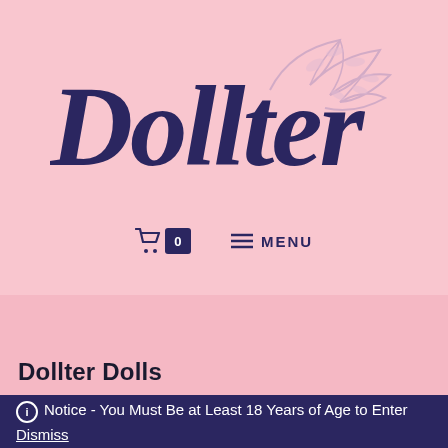[Figure (logo): Dollter cursive script logo in dark navy blue on pink background, with a light lavender leaf/branch decoration in the top right]
🛒 0   ≡ MENU
Dollter Dolls
ℹ Notice - You Must Be at Least 18 Years of Age to Enter
Dismiss